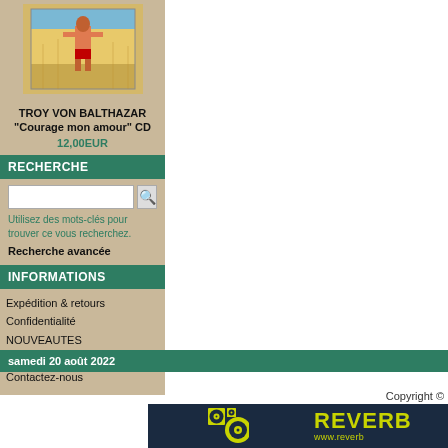[Figure (photo): Product image of Troy Von Balthazar CD with painted figure on yellow/sandy background]
TROY VON BALTHAZAR
"Courage mon amour" CD
12,00EUR
RECHERCHE
Utilisez des mots-clés pour trouver ce vous recherchez.
Recherche avancée
INFORMATIONS
Expédition & retours
Confidentialité
NOUVEAUTES
Conditions d'utilisation
Contactez-nous
samedi 20 août 2022
Copyright ©
[Figure (logo): Reverb.com banner logo with vinyl record icons on dark green/yellow background with text REVERB and www.reverb...]